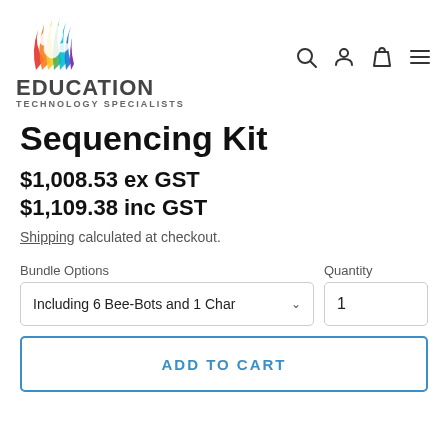[Figure (logo): Education Technology Specialists logo with colorful flame/wave mark]
Sequencing Kit
$1,008.53 ex GST
$1,109.38 inc GST
Shipping calculated at checkout.
Bundle Options
Quantity
Including 6 Bee-Bots and 1 Char ∨
1
ADD TO CART